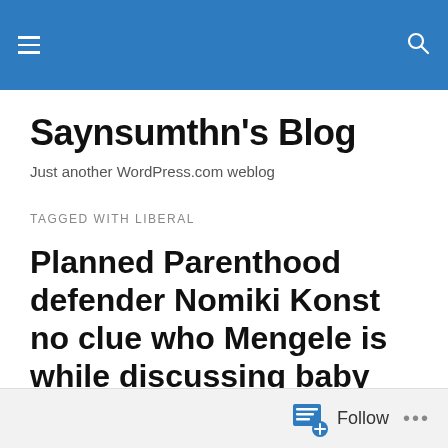Saynsumthn's Blog — navigation header bar with hamburger menu and search icon
Saynsumthn's Blog
Just another WordPress.com weblog
TAGGED WITH LIBERAL
Planned Parenthood defender Nomiki Konst no clue who Mengele is while discussing baby parts harvesting on O'Reilly
Follow